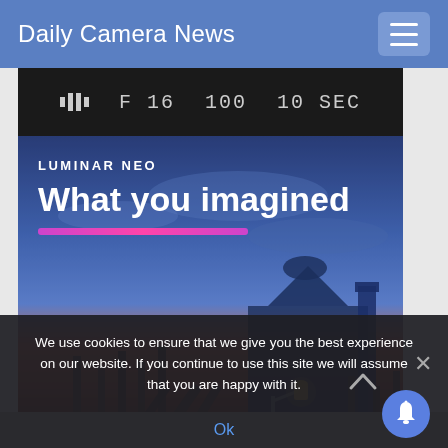Daily Camera News
[Figure (screenshot): Camera display strip showing settings: battery icon, F 16, 100, 10 SEC on dark background]
[Figure (photo): Luminar Neo advertisement showing Venice gondola pier at sunset/dusk with purple-blue sky, street lamp, and cathedral in distance. Overlay text: LUMINAR NEO / What you imagined, with pink gradient bar]
We use cookies to ensure that we give you the best experience on our website. If you continue to use this site we will assume that you are happy with it.
Ok